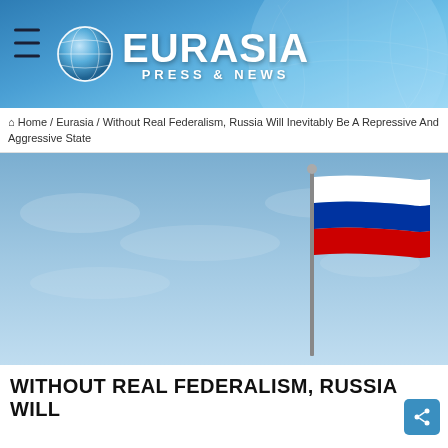EURASIA PRESS & NEWS
🏠 Home / Eurasia / Without Real Federalism, Russia Will Inevitably Be A Repressive And Aggressive State
[Figure (photo): Photo of a Russian flag flying on a flagpole against a blue sky background]
WITHOUT REAL FEDERALISM, RUSSIA WILL